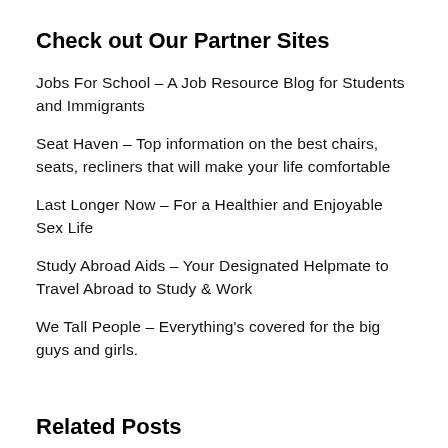Check out Our Partner Sites
Jobs For School – A Job Resource Blog for Students and Immigrants
Seat Haven – Top information on the best chairs, seats, recliners that will make your life comfortable
Last Longer Now – For a Healthier and Enjoyable Sex Life
Study Abroad Aids – Your Designated Helpmate to Travel Abroad to Study & Work
We Tall People – Everything's covered for the big guys and girls.
Related Posts